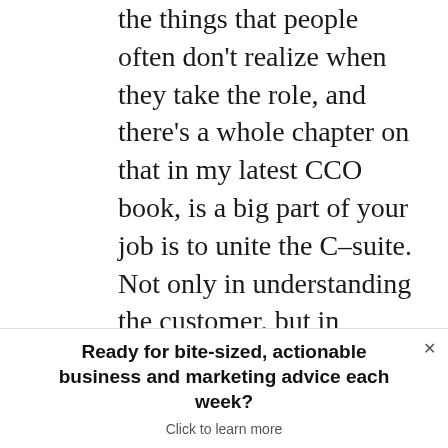the things that people often don't realize when they take the role, and there's a whole chapter on that in my latest CCO book, is a big part of your job is to unite the C–suite. Not only in understanding the customer, but in language and in their sentiment. So much of what we have to do is get them out in the field talking to customers, being human. If you're going to talk about something that's not working, give them homework to try to download that thing or sign up for an account the
Ready for bite-sized, actionable business and marketing advice each week? Click to learn more